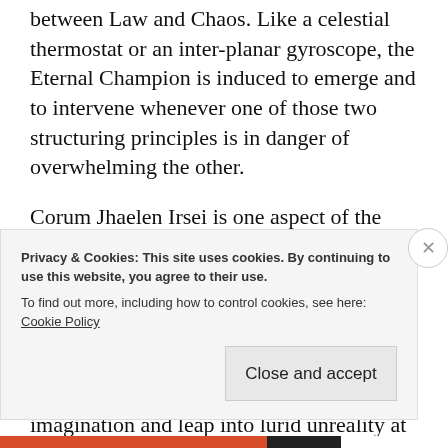between Law and Chaos. Like a celestial thermostat or an inter-planar gyroscope, the Eternal Champion is induced to emerge and to intervene whenever one of those two structuring principles is in danger of overwhelming the other.
Corum Jhaelen Irsei is one aspect of the Eternal Champion, and the subject of two trilogies of Moorcock's down-and-dirty, pulpy-yet-smart sword-and-sorcery novels. These stories are rarely constructed with great care or detailed planning, but spring fully formed from Moorcock's febrile imagination and leap into lurid unreality at
Privacy & Cookies: This site uses cookies. By continuing to use this website, you agree to their use.
To find out more, including how to control cookies, see here: Cookie Policy
Close and accept